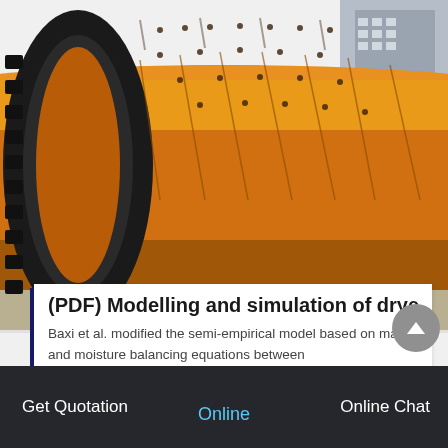[Figure (photo): Large orange industrial rotary dryer drum with black gear/ring assembly on the left side, lying horizontally on the ground with a building visible in the background]
(PDF) Modelling and simulation of dryer s
Baxi et al. modified the semi-empirical model based on mass and moisture balancing equations between
Get Quotation    Online    Online Chat